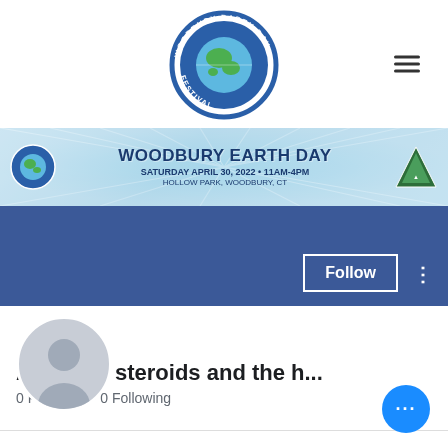[Figure (logo): Woodbury Earth Day Festival circular logo with globe in center and text around the ring]
[Figure (infographic): Banner reading WOODBURY EARTH DAY, Saturday April 30, 2022 • 11AM-4PM, Hollow Park, Woodbury, CT with sunburst background and logos]
[Figure (screenshot): Facebook-style profile page with blue cover photo, Follow button, three-dot menu, anonymous profile avatar]
Anabolic steroids and the h...
0 Followers • 0 Following